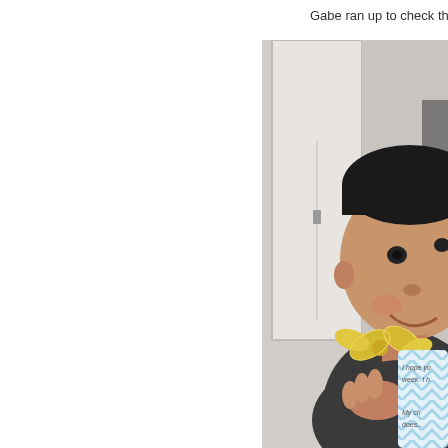Gabe ran up to check the mail thi
[Figure (photo): A smiling young boy holding a small gift with a gold bow and a blue chevron-striped card. The card has handwritten text partially visible reading 'I hope you have a good week. I h...' and 'My ch... does...']